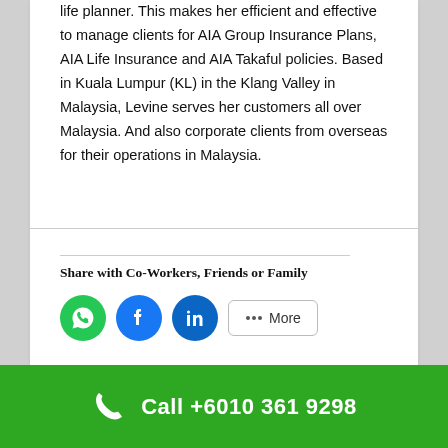life planner. This makes her efficient and effective to manage clients for AIA Group Insurance Plans, AIA Life Insurance and AIA Takaful policies. Based in Kuala Lumpur (KL) in the Klang Valley in Malaysia, Levine serves her customers all over Malaysia. And also corporate clients from overseas for their operations in Malaysia.
Share with Co-Workers, Friends or Family
[Figure (infographic): Social share buttons: WhatsApp (green circle), Facebook (blue circle), LinkedIn (blue circle), and a More button with share icon]
Call +6010 361 9298